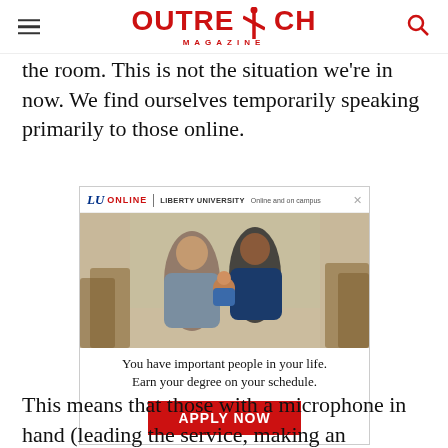Outreach Magazine
the room. This is not the situation we're in now. We find ourselves temporarily speaking primarily to those online.
[Figure (photo): Liberty University Online advertisement showing a smiling family (man, woman, and baby). Text: 'You have important people in your life. Earn your degree on your schedule. APPLY NOW']
This means that those with a microphone in hand (leading the service, making an announcement